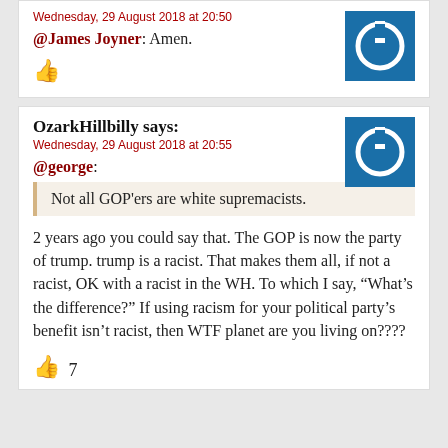Wednesday, 29 August 2018 at 20:50
@James Joyner: Amen.
[Figure (other): Thumbs up icon]
OzarkHillbilly says:
Wednesday, 29 August 2018 at 20:55
@george:
Not all GOP'ers are white supremacists.
2 years ago you could say that. The GOP is now the party of trump. trump is a racist. That makes them all, if not a racist, OK with a racist in the WH. To which I say, “What’s the difference?” If using racism for your political party’s benefit isn’t racist, then WTF planet are you living on????
[Figure (other): Thumbs up icon with count 7]